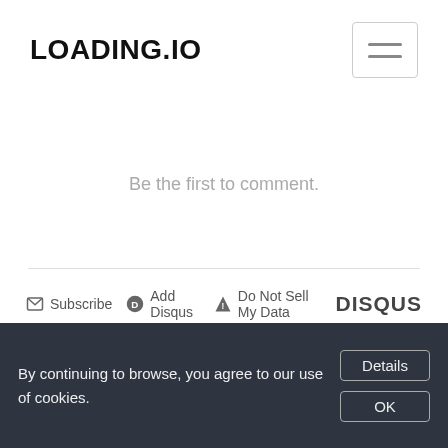LOADING.IO
Be the first to comment.
Subscribe  Add Disqus  Do Not Sell My Data  DISQUS
By continuing to browse, you agree to our use of cookies.